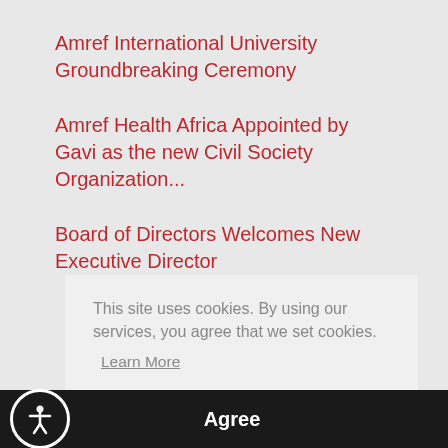Amref International University Groundbreaking Ceremony
Amref Health Africa Appointed by Gavi as the new Civil Society Organization...
Board of Directors Welcomes New Executive Director
This site uses cookies. By using our services, you agree that we set cookies.
Learn More
Agree